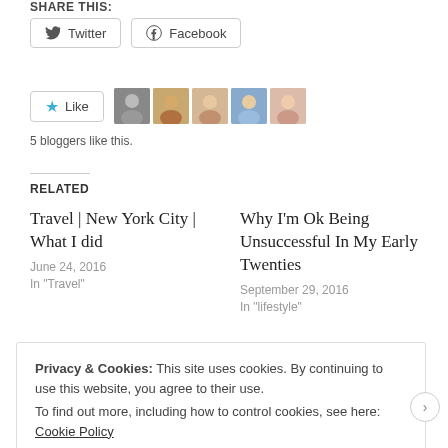SHARE THIS:
Twitter  Facebook
[Figure (other): Like button with star icon, followed by 5 blogger avatar thumbnails]
5 bloggers like this.
RELATED
Travel | New York City | What I did
June 24, 2016
In "Travel"
Why I'm Ok Being Unsuccessful In My Early Twenties
September 29, 2016
In "lifestyle"
Privacy & Cookies: This site uses cookies. By continuing to use this website, you agree to their use.
To find out more, including how to control cookies, see here: Cookie Policy
Close and accept